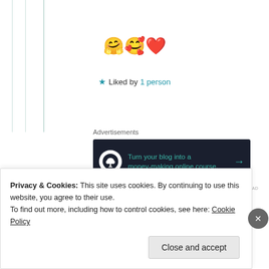[Figure (illustration): Emoji row: hugging face, kissing face with hearts, red heart]
★ Liked by 1 person
Advertisements
[Figure (other): Advertisement banner: dark background with bonsai tree icon and text 'Turn your blog into a money-making online course.' with arrow]
REPORT THIS AD
skylinerise
3rd Jul 2021 at 12:35 pm
Privacy & Cookies: This site uses cookies. By continuing to use this website, you agree to their use. To find out more, including how to control cookies, see here: Cookie Policy